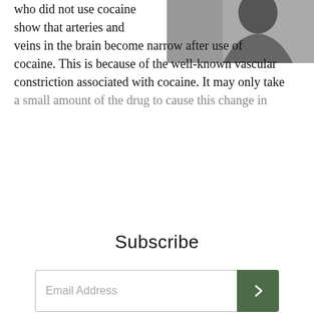who did not use cocaine show that arteries and veins in the brain become narrow after use of cocaine. This is because of the well-known vascular constriction associated with cocaine. It may only take a small amount of the drug to cause this change in
[Figure (photo): Black and white photo of a person with dark hair, appearing pensive, partially cropped]
Subscribe
Email Address
CLOSE
cocaine users suffered severe headaches, sometimes requiring hospitalization. And 3% suffered convulsions. Cocaine may also make a person more prone to seizures.
Cocaine not only causes blood vessel to constrict, it